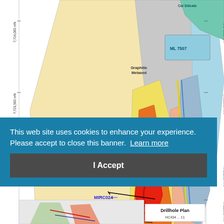[Figure (map): Geological map showing drill hole locations, geological units (Graphitic Metased, ML 7507, Quartz Conglomerate, Quartzite, Cal Silicate), coordinate grid with northing values (7,724,000 mN, 7,723,500 mN, 7,723,000 mN, 7,722,500 mN), drill hole traces with MIRC024 labeled, colored geological formations including red/orange/yellow/blue/green units, and a bottom strip showing Drillhole Plan]
This web site uses cookies to enhance your experience. Please accept to close this banner. Learn more
I Accept
Drillhole Plan